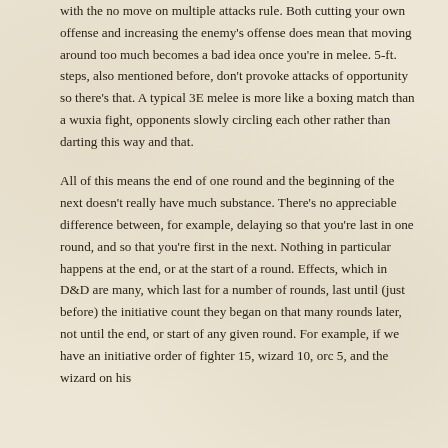with the no move on multiple attacks rule. Both cutting your own offense and increasing the enemy's offense does mean that moving around too much becomes a bad idea once you're in melee. 5-ft. steps, also mentioned before, don't provoke attacks of opportunity so there's that. A typical 3E melee is more like a boxing match than a wuxia fight, opponents slowly circling each other rather than darting this way and that.
All of this means the end of one round and the beginning of the next doesn't really have much substance. There's no appreciable difference between, for example, delaying so that you're last in one round, and so that you're first in the next. Nothing in particular happens at the end, or at the start of a round. Effects, which in D&D are many, which last for a number of rounds, last until (just before) the initiative count they began on that many rounds later, not until the end, or start of any given round. For example, if we have an initiative order of fighter 15, wizard 10, orc 5, and the wizard on his